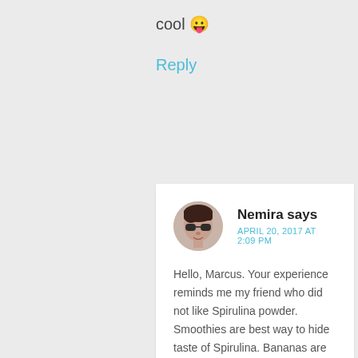cool 😛
Reply
[Figure (photo): Round avatar photo of Nemira, a woman wearing sunglasses]
Nemira says
APRIL 20, 2017 AT 2:09 PM
Hello, Marcus. Your experience reminds me my friend who did not like Spirulina powder. Smoothies are best way to hide taste of Spirulina. Bananas are big helpers. Adding some lemon would help to hide taste of Spirulina. It depends on person when questions are about taste. We all have anatomically the same taste buds, but we like